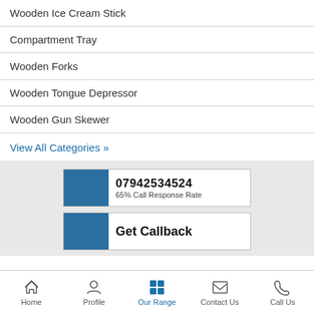Wooden Ice Cream Stick
Compartment Tray
Wooden Forks
Wooden Tongue Depressor
Wooden Gun Skewer
View All Categories »
07942534524
65% Call Response Rate
Get Callback
Home  Profile  Our Range  Contact Us  Call Us